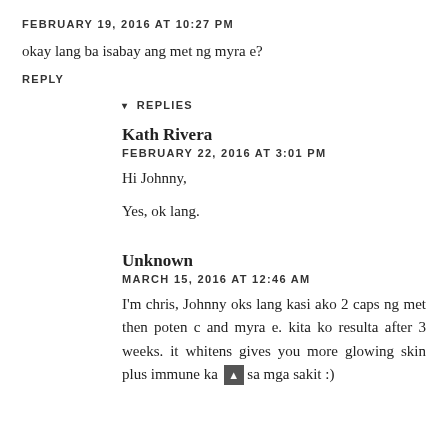FEBRUARY 19, 2016 AT 10:27 PM
okay lang ba isabay ang met ng myra e?
REPLY
▾ REPLIES
Kath Rivera
FEBRUARY 22, 2016 AT 3:01 PM
Hi Johnny,
Yes, ok lang.
Unknown
MARCH 15, 2016 AT 12:46 AM
I'm chris, Johnny oks lang kasi ako 2 caps ng met then poten c and myra e. kita ko resulta after 3 weeks. it whitens gives you more glowing skin plus immune ka sa mga sakit :)